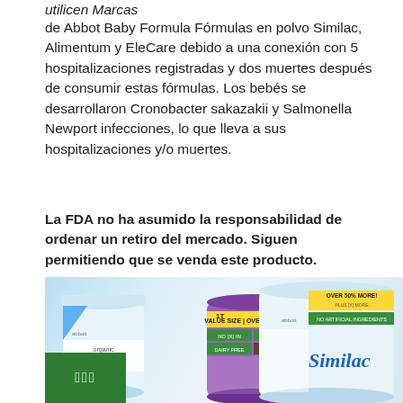utilicen Marcas de Abbot Baby Formula Fórmulas en polvo Similac, Alimentum y EleCare debido a una conexión con 5 hospitalizaciones registradas y dos muertes después de consumir estas fórmulas. Los bebés se desarrollaron Cronobacter sakazakii y Salmonella Newport infecciones, lo que lleva a sus hospitalizaciones y/o muertes.
La FDA no ha asumido la responsabilidad de ordenar un retiro del mercado. Siguen permitiendo que se venda este producto.
Si le está dando fórmula a su bebé o conoce a alguien que lo esté, le pedimos que mire el envase de inmediato.
[Figure (photo): Photo showing three baby formula cans: EleCare (left, white/blue), a middle can with VALUE SIZE and OVER 60% MORE labels, and Similac (right) with OVER 50% MORE label. A green badge with characters is overlaid at the bottom left.]